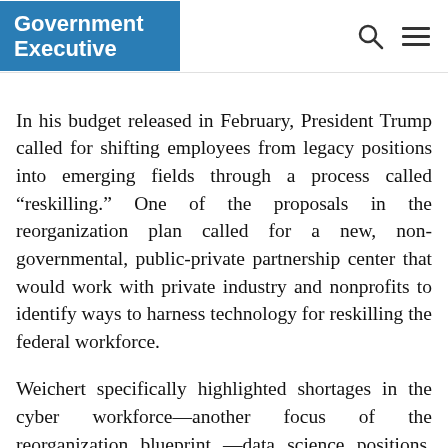Government Executive
In his budget released in February, President Trump called for shifting employees from legacy positions into emerging fields through a process called “reskilling.” One of the proposals in the reorganization plan called for a new, non-governmental, public-private partnership center that would work with private industry and nonprofits to identify ways to harness technology for reskilling the federal workforce.
Weichert specifically highlighted shortages in the cyber workforce—another focus of the reorganization blueprint—data science positions, other information technology jobs and law enforcement. The “tight labor market” has made those gaps even more difficult to fill, Weichert said.
“We’re as interested in retraining and reskilling and redeploying as anything else,” she explained. “The